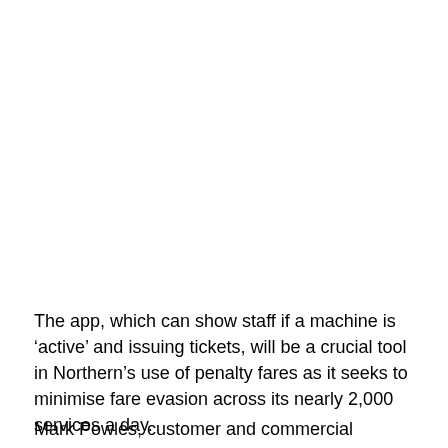The app, which can show staff if a machine is ‘active’ and issuing tickets, will be a crucial tool in Northern’s use of penalty fares as it seeks to minimise fare evasion across its nearly 2,000 services a day.
Mark Powles, customer and commercial director, said: “Self-